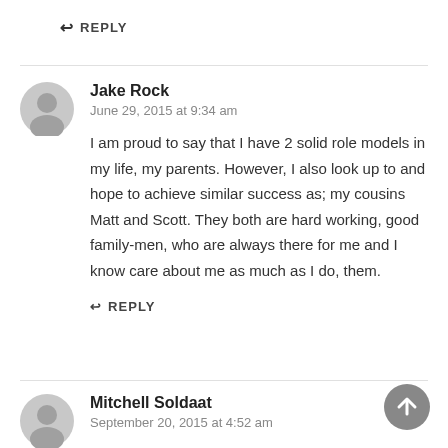↩ REPLY
Jake Rock
June 29, 2015 at 9:34 am
I am proud to say that I have 2 solid role models in my life, my parents. However, I also look up to and hope to achieve similar success as; my cousins Matt and Scott. They both are hard working, good family-men, who are always there for me and I know care about me as much as I do, them.
↩ REPLY
Mitchell Soldaat
September 20, 2015 at 4:52 am